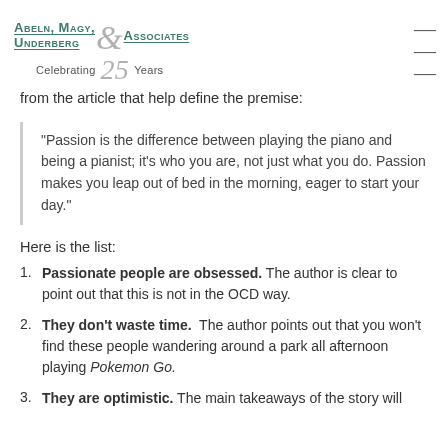Abeln, Magy, Underberg & Associates — Celebrating 25 Years
from the article that help define the premise:
"Passion is the difference between playing the piano and being a pianist; it's who you are, not just what you do. Passion makes you leap out of bed in the morning, eager to start your day."
Here is the list:
1. Passionate people are obsessed. The author is clear to point out that this is not in the OCD way.
2. They don't waste time. The author points out that you won't find these people wandering around a park all afternoon playing Pokemon Go.
3. They are optimistic. The main takeaways of the story will...